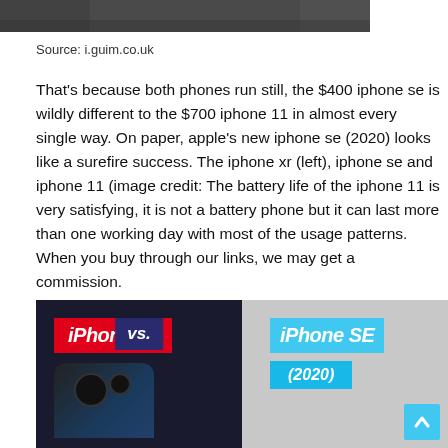[Figure (photo): Top portion of a dark/grainy photo, partially visible at top of page]
Source: i.guim.co.uk
That's because both phones run still, the $400 iphone se is wildly different to the $700 iphone 11 in almost every single way. On paper, apple's new iphone se (2020) looks like a surefire success. The iphone xr (left), iphone se and iphone 11 (image credit: The battery life of the iphone 11 is very satisfying, it is not a battery phone but it can last more than one working day with most of the usage patterns. When you buy through our links, we may get a commission.
[Figure (photo): Comparison image showing iPhone 11 vs iPhone SE (2020) with red badge for iPhone 11 on dark background and cyan badge for iPhone SE on light grey background, with a vs. badge in the middle]